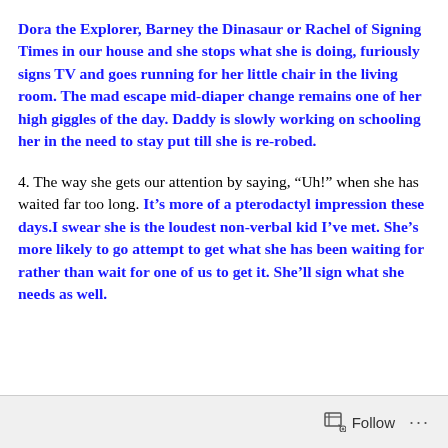Dora the Explorer, Barney the Dinasaur or Rachel of Signing Times in our house and she stops what she is doing, furiously signs TV and goes running for her little chair in the living room. The mad escape mid-diaper change remains one of her high giggles of the day. Daddy is slowly working on schooling her in the need to stay put till she is re-robed.
4. The way she gets our attention by saying, “Uh!” when she has waited far too long. It’s more of a pterodactyl impression these days.I swear she is the loudest non-verbal kid I’ve met. She’s more likely to go attempt to get what she has been waiting for rather than wait for one of us to get it. She’ll sign what she needs as well.
Follow